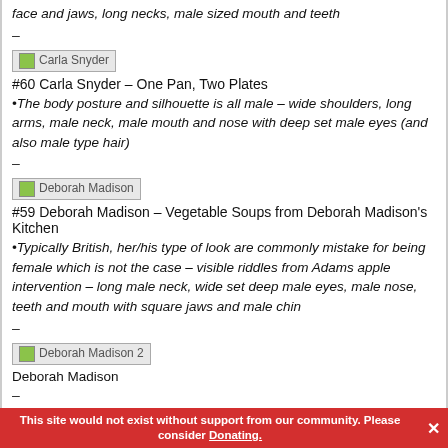face and jaws, long necks, male sized mouth and teeth
–
[Figure (photo): Carla Snyder thumbnail image placeholder]
#60 Carla Snyder – One Pan, Two Plates
•The body posture and silhouette is all male – wide shoulders, long arms, male neck, male mouth and nose with deep set male eyes (and also male type hair)
–
[Figure (photo): Deborah Madison thumbnail image placeholder]
#59 Deborah Madison – Vegetable Soups from Deborah Madison's Kitchen
•Typically British, her/his type of look are commonly mistake for being female which is not the case – visible riddles from Adams apple intervention – long male neck, wide set deep male eyes, male nose, teeth and mouth with square jaws and male chin
–
[Figure (photo): Deborah Madison 2 thumbnail image placeholder]
Deborah Madison
–
[Figure (photo): Erin Gleeson thumbnail image placeholder (partially visible)]
This site would not exist without support from our community. Please consider Donating.